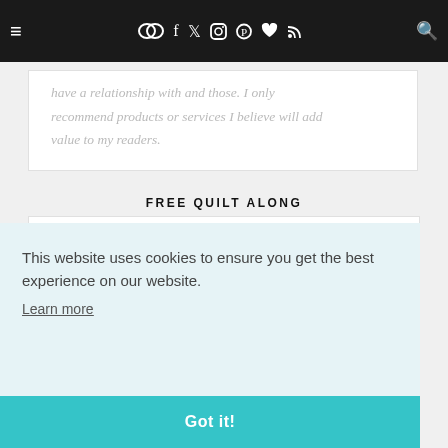≡  [social icons]  🔍
have a relationship with and those. I only recommend products or services I believe will add value to my readers.
FREE QUILT ALONG
[Figure (logo): Colorful geometric quilt logo with orange, crimson/magenta triangles and partial text 'IC']
This website uses cookies to ensure you get the best experience on our website.
Learn more
Got it!